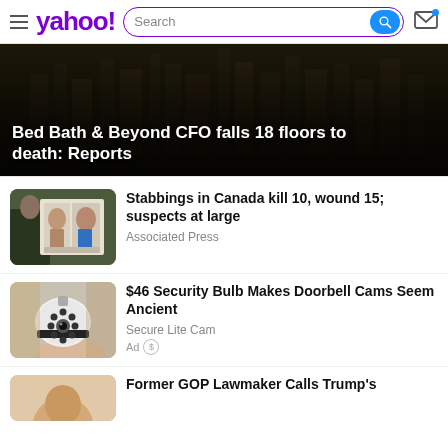yahoo! Search
[Figure (photo): News hero image with dark city building background and headline overlay: Bed Bath & Beyond CFO falls 18 floors to death: Reports]
Bed Bath & Beyond CFO falls 18 floors to death: Reports
[Figure (photo): Thumbnail image showing mugshot photos of two suspects held up by a police officer]
Stabbings in Canada kill 10, wound 15; suspects at large
Associated Press
[Figure (photo): Thumbnail image of a security camera dome/bulb device held in hand]
$46 Security Bulb Makes Doorbell Cams Seem Ancient
Secure Lite Cam
Ad
[Figure (photo): Thumbnail image partially visible, cropped at bottom - person's face]
Former GOP Lawmaker Calls Trump's